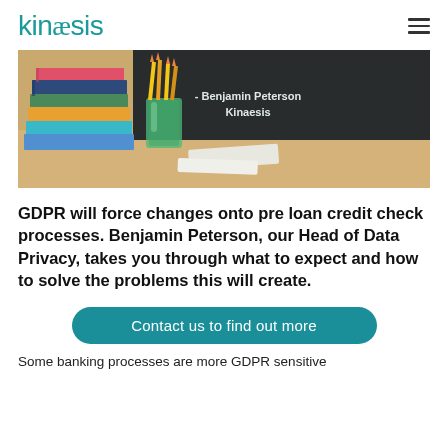kinaesis
[Figure (photo): A classroom-style photo showing a stack of colorful books on a wooden desk with pencils in a green glass holder, and a dark chalkboard in the background with text '- Benjamin Peterson Kinaesis' written in white.]
GDPR will force changes onto pre loan credit check processes. Benjamin Peterson, our Head of Data Privacy, takes you through what to expect and how to solve the problems this will create.
Contact us to find out more
Some banking processes are more GDPR sensitive